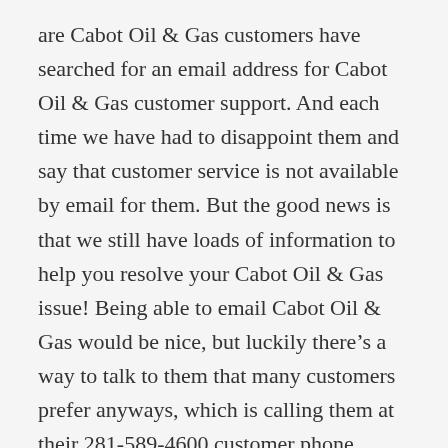are Cabot Oil & Gas customers have searched for an email address for Cabot Oil & Gas customer support. And each time we have had to disappoint them and say that customer service is not available by email for them. But the good news is that we still have loads of information to help you resolve your Cabot Oil & Gas issue! Being able to email Cabot Oil & Gas would be nice, but luckily there's a way to talk to them that many customers prefer anyways, which is calling them at their 281-589-4600 customer phone number. The reason why customers try to send emails to Cabot Oil & Gas is to see if they can handle their customer service issue, which comes in a wide variety. An example issue would be Setup service. Since you cannot email Cabot Oil & Gas customer service, our best advice is to tell us what issue you are facing below so we can answer your for